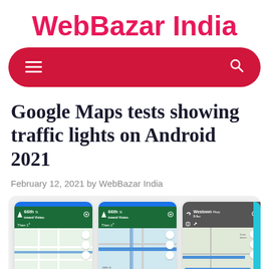WebBazar India
[Figure (screenshot): Red rounded navigation bar with hamburger menu icon on the left and search icon on the right]
Google Maps tests showing traffic lights on Android 2021
February 12, 2021 by WebBazar India
[Figure (screenshot): Three smartphone screenshots of Google Maps navigation showing traffic lights feature, with map views displaying 66th Street and Westown Pkwy directions]